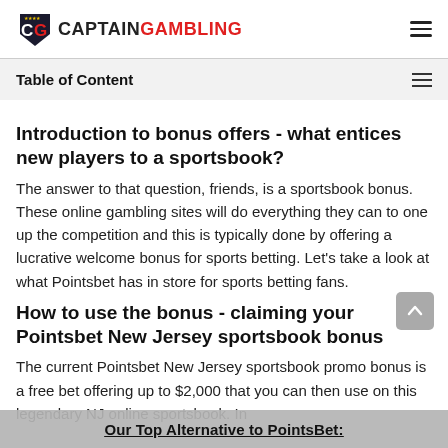CAPTAIN GAMBLING
Table of Content
Introduction to bonus offers - what entices new players to a sportsbook?
The answer to that question, friends, is a sportsbook bonus. These online gambling sites will do everything they can to one up the competition and this is typically done by offering a lucrative welcome bonus for sports betting. Let's take a look at what Pointsbet has in store for sports betting fans.
How to use the bonus - claiming your Pointsbet New Jersey sportsbook bonus
The current Pointsbet New Jersey sportsbook promo bonus is a free bet offering up to $2,000 that you can then use on this legendary NJ online sportsbook. In
Our Top Alternative to PointsBet: